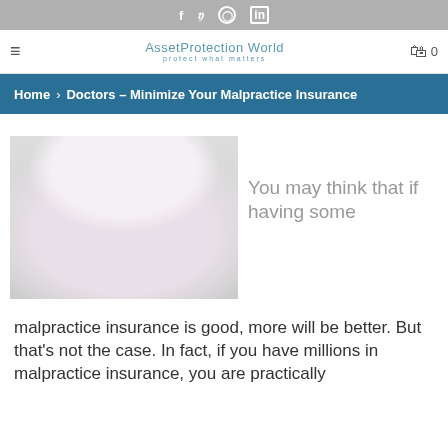f  𝕥  ⊙  in
≡  AssetProtection World  protect what matters  🛍 0
Home > Doctors – Minimize Your Malpractice Insurance
[Figure (photo): Doctor in white coat holding US dollar bills with stethoscope around neck]
You may think that if having some
malpractice insurance is good, more will be better. But that's not the case. In fact, if you have millions in malpractice insurance, you are practically